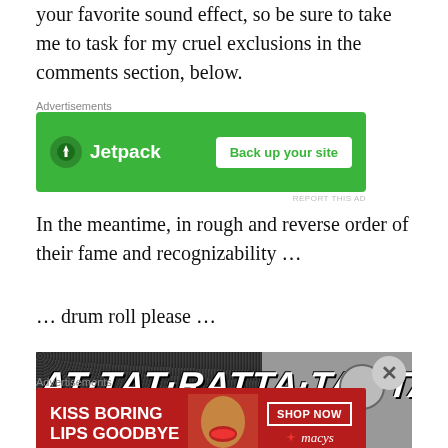your favorite sound effect, so be sure to take me to task for my cruel exclusions in the comments section, below.
[Figure (other): Jetpack advertisement banner — green background with Jetpack logo and 'Back up your site' button]
In the meantime, in rough and reverse order of their fame and recognizability …
… drum roll please …
[Figure (illustration): Black and white comic book style image with text 'AT-TAT-RATTA-TAT-TAT-' and a speech bubble saying 'SILENCE, BUDDY! I THINK I HEAR...' with a drumstick visible on the right]
[Figure (other): Macy's advertisement banner — red background with 'KISS BORING LIPS GOODBYE' text and 'SHOP NOW' button with Macy's logo, featuring a woman's face with red lips]